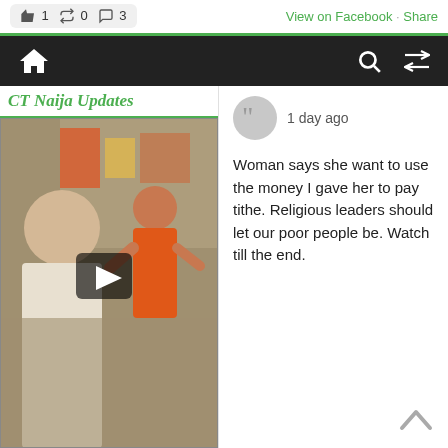👍 1  🔁 0  💬 3   View on Facebook · Share
[Figure (screenshot): Mobile website navigation bar with home icon, search icon, and shuffle icon on dark background]
[Figure (screenshot): CT Naija Updates video thumbnail showing two people inside a vehicle at a market, with a play button overlay]
1 day ago
Woman says she want to use the money I gave her to pay tithe. Religious leaders should let our poor people be. Watch till the end.